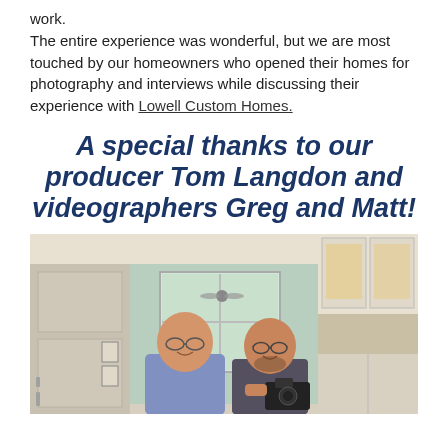work.
The entire experience was wonderful, but we are most touched by our homeowners who opened their homes for photography and interviews while discussing their experience with Lowell Custom Homes.
A special thanks to our producer Tom Langdon and videographers Greg and Matt!
[Figure (photo): Two men posing together in a kitchen. One man is bald with glasses and wearing a blue/purple button-up shirt. The other man has a beard, glasses, and is holding a camera. The kitchen has white cabinets, a window in the background showing a porch/outdoor area with a ceiling fan, framed pictures on the wall, and decorative tile backsplash.]